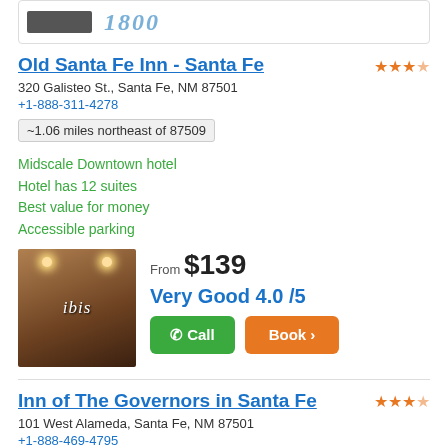[Figure (photo): Partial hotel photo and logo at top of page]
Old Santa Fe Inn - Santa Fe
320 Galisteo St., Santa Fe, NM 87501
+1-888-311-4278
~1.06 miles northeast of 87509
Midscale Downtown hotel
Hotel has 12 suites
Best value for money
Accessible parking
[Figure (photo): Hotel lobby photo with ibis branding, dark chairs]
From $139
Very Good 4.0 /5
Inn of The Governors in Santa Fe
101 West Alameda, Santa Fe, NM 87501
+1-888-469-4795
~1.12 miles northeast of 87509